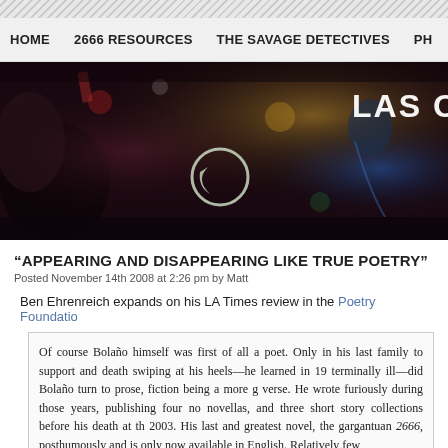HOME   2666 RESOURCES   THE SAVAGE DETECTIVES   PH...
[Figure (illustration): Dark, richly colored artwork/painting used as banner with text 'LAS OBRA' visible on right side]
“APPEARING AND DISAPPEARING LIKE TRUE POETRY”
Posted November 14th 2008 at 2:26 pm by Matt
Ben Ehrenreich expands on his LA Times review in the Poetry Foundatio...
Of course Bolaño himself was first of all a poet. Only in his last... family to support and death swiping at his heels—he learned in 19... terminally ill—did Bolaño turn to prose, fiction being a more g... verse. He wrote furiously during those years, publishing four no... novellas, and three short story collections before his death at th... 2003. His last and greatest novel, the gargantuan 2666,... posthumously and is only now available in English. Relatively few...